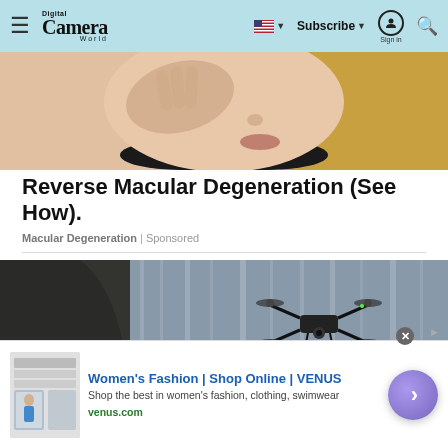Digital Camera World | Subscribe | Sign in
[Figure (photo): Close-up photo of a blonde woman touching her face, wearing a dark top]
Reverse Macular Degeneration (See How).
Macular Degeneration | Sponsored
[Figure (photo): A drone flying in front of a waterfall with dark rocky background]
[Figure (infographic): Advertisement banner: Women's Fashion | Shop Online | VENUS. Shop the best in women's fashion, clothing, swimwear. venus.com]